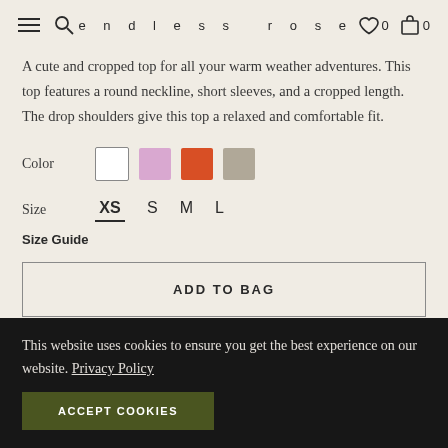endless rose | 0 (wishlist) | 0 (bag)
A cute and cropped top for all your warm weather adventures. This top features a round neckline, short sleeves, and a cropped length. The drop shoulders give this top a relaxed and comfortable fit.
Color  [white] [lavender] [orange] [taupe]
Size  XS  S  M  L
Size Guide
ADD TO BAG
This website uses cookies to ensure you get the best experience on our website. Privacy Policy
ACCEPT COOKIES